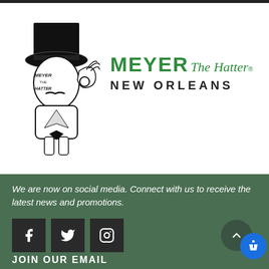[Figure (logo): Meyer the Hatter New Orleans logo — cartoon figure wearing top hat with bow tie making OK gesture, alongside green bold text 'MEYER The Hatter® NEW ORLEANS']
We are now on social media. Connect with us to receive the latest news and promotions.
[Figure (infographic): Three dark square social media icons: Facebook, Twitter, Instagram]
JOIN OUR EMAIL